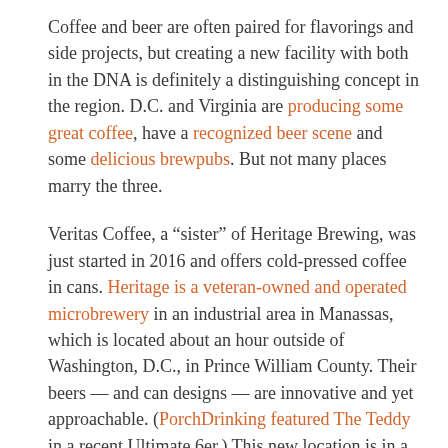Coffee and beer are often paired for flavorings and side projects, but creating a new facility with both in the DNA is definitely a distinguishing concept in the region. D.C. and Virginia are producing some great coffee, have a recognized beer scene and some delicious brewpubs. But not many places marry the three.
Veritas Coffee, a “sister” of Heritage Brewing, was just started in 2016 and offers cold-pressed coffee in cans. Heritage is a veteran-owned and operated microbrewery in an industrial area in Manassas, which is located about an hour outside of Washington, D.C., in Prince William County. Their beers — and can designs — are innovative and yet approachable. (PorchDrinking featured The Teddy in a recent Ultimate 6er.) This new location is in a more highly trafficked region and draws the brewery closer to the